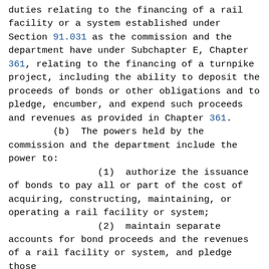duties relating to the financing of a rail facility or a system established under Section 91.031 as the commission and the department have under Subchapter E, Chapter 361, relating to the financing of a turnpike project, including the ability to deposit the proceeds of bonds or other obligations and to pledge, encumber, and expend such proceeds and revenues as provided in Chapter 361.
        (b)  The powers held by the commission and the department include the power to:
                (1)  authorize the issuance of bonds to pay all or part of the cost of acquiring, constructing, maintaining, or operating a rail facility or system;
                (2)  maintain separate accounts for bond proceeds and the revenues of a rail facility or system, and pledge those